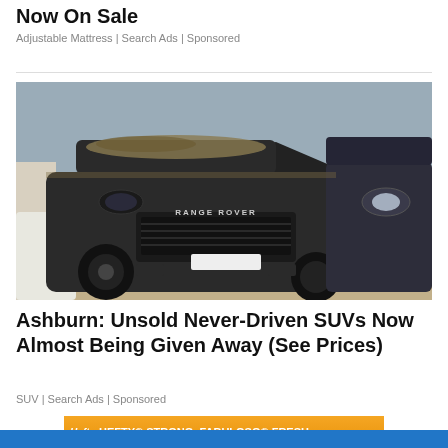Now On Sale
Adjustable Mattress | Search Ads | Sponsored
[Figure (photo): Two dark Range Rover SUVs covered in dust and mud, parked side by side outdoors.]
Ashburn: Unsold Never-Driven SUVs Now Almost Being Given Away (See Prices)
SUV | Search Ads | Sponsored
[Figure (photo): Hefty STRONG, FABULOSO FRESH advertisement banner in orange with white text and Hefty logo.]